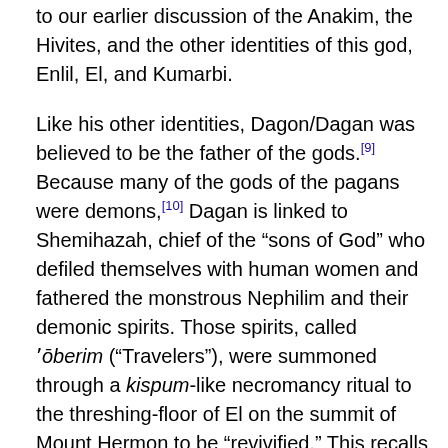to our earlier discussion of the Anakim, the Hivites, and the other identities of this god, Enlil, El, and Kumarbi.
Like his other identities, Dagon/Dagan was believed to be the father of the gods.[9] Because many of the gods of the pagans were demons,[10] Dagan is linked to Shemihazah, chief of the “sons of God” who defiled themselves with human women and fathered the monstrous Nephilim and their demonic spirits. Those spirits, called ʼōberim (“Travelers”), were summoned through a kispum-like necromancy ritual to the threshing-floor of El on the summit of Mount Hermon to be “revivified.” This recalls the summoning of the Hurrians’ netherworld gods at the abi in Urkesh, the home of Kumarbi. That ancient ritual pit was connected to the ʼob of the Old Testament and the ʼoboth (“spirits of the dead”) who were summoned at those pits. If the Philistine idols were objects used by a cult of revivification, we have another point of contact between